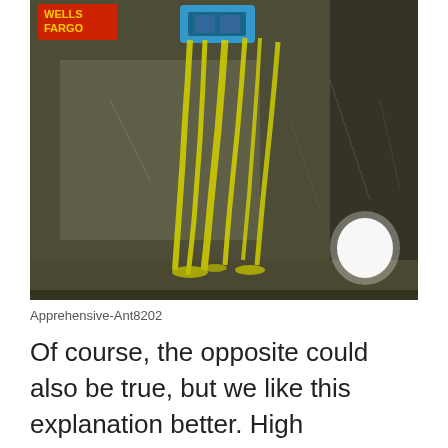[Figure (photo): Photo of a Wells Fargo bank window exterior covered in dripping yellow paint streaks. A blue ATM sign is visible at the top center. The Wells Fargo logo in yellow text on red background is visible in the upper left. A glowing white orb light is visible at the lower right.]
Apprehensive-Ant8202
Of course, the opposite could also be true, but we like this explanation better. High schoolers are confusing,